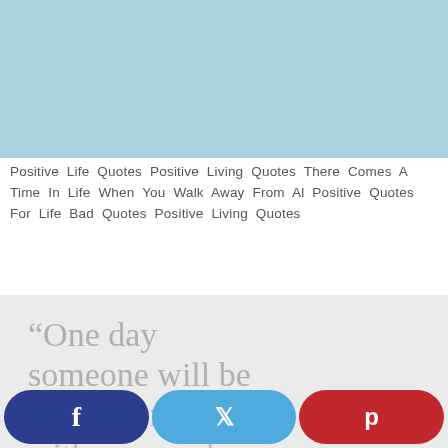[Figure (photo): Light blue image at the top of the page, partially cropped]
Positive Life Quotes Positive Living Quotes There Comes A Time In Life When You Walk Away From Al Positive Quotes For Life Bad Quotes Positive Living Quotes
[Figure (illustration): Light gray background with large serif text reading: “One day someone will be 100% honest with you, and (cut off)]
f  (Facebook share button)  (Twitter share button)  p (Pinterest share button)